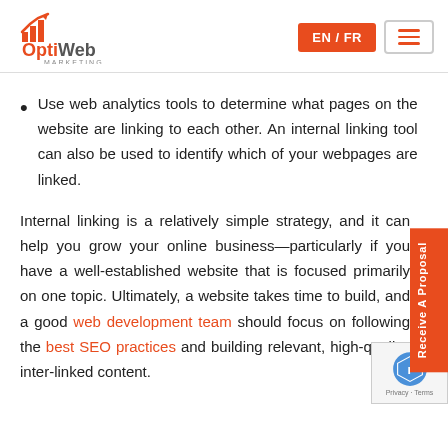OptiWeb Marketing — EN / FR
Use web analytics tools to determine what pages on the website are linking to each other. An internal linking tool can also be used to identify which of your webpages are linked.
Internal linking is a relatively simple strategy, and it can help you grow your online business—particularly if you have a well-established website that is focused primarily on one topic. Ultimately, a website takes time to build, and a good web development team should focus on following the best SEO practices and building relevant, high-quality, inter-linked content.